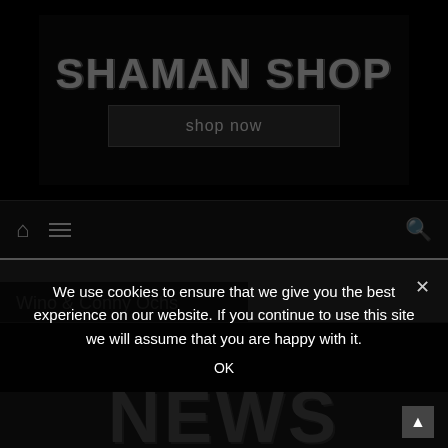[Figure (screenshot): Shaman Shop banner with distressed white text 'SHAMAN SHOP' and a dark 'shop now' button on black background]
[Figure (screenshot): Navigation bar with home icon, hamburger menu icon on left, search icon on right, on dark background]
Wino & Conny Ochs
[Figure (screenshot): Dark area showing distressed 'NEWS' text in large grey letters, partially obscured by cookie consent overlay]
We use cookies to ensure that we give you the best experience on our website. If you continue to use this site we will assume that you are happy with it.
OK